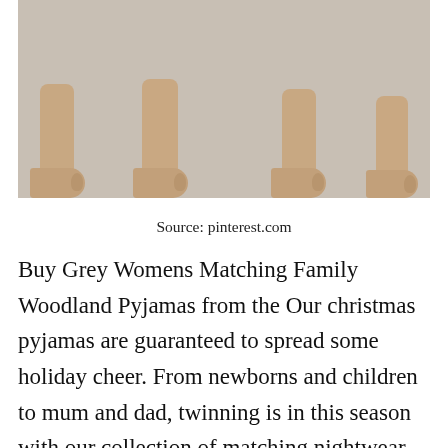[Figure (photo): Photo showing feet and ankles of people wearing light-colored/cream pyjama trousers, standing against a light grey background. The lower legs and bare feet are visible.]
Source: pinterest.com
Buy Grey Womens Matching Family Woodland Pyjamas from the Our christmas pyjamas are guaranteed to spread some holiday cheer. From newborns and children to mum and dad, twinning is in this season with our collection of matching nightwear. Family matching pyja[blocked]as set,2020 matching